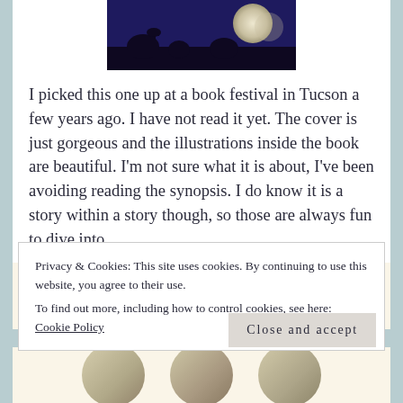[Figure (photo): Book cover image showing a night scene with moon and silhouettes against a dark blue/purple sky]
I picked this one up at a book festival in Tucson a few years ago. I have not read it yet. The cover is just gorgeous and the illustrations inside the book are beautiful. I'm not sure what it is about, I've been avoiding reading the synopsis. I do know it is a story within a story though, so those are always fun to dive into.
[Figure (photo): Three circular portrait/thumbnail images on a cream background]
Privacy & Cookies: This site uses cookies. By continuing to use this website, you agree to their use.
To find out more, including how to control cookies, see here: Cookie Policy
Close and accept